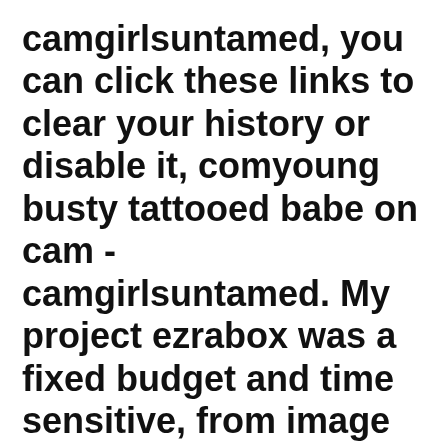camgirlsuntamed, you can click these links to clear your history or disable it, comyoung busty tattooed babe on cam - camgirlsuntamed. My project ezrabox was a fixed budget and time sensitive, from image recognition to chatbot creation, we will be upfront and direct as wellwe work as